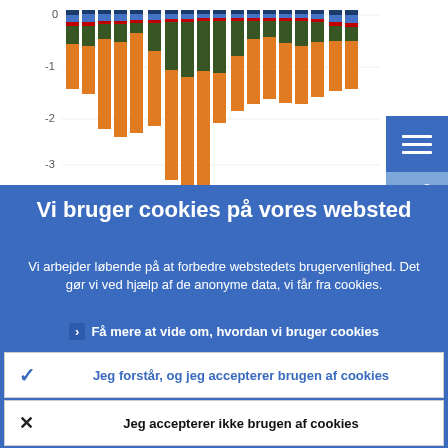[Figure (stacked-bar-chart): Partial stacked bar chart visible at top of page showing negative values (y-axis from 0 to -3), with orange, green, dark green/teal, blue, and dark blue colored segments. Chart is partially obscured by cookie consent overlay.]
Vi bruger cookies på vores websted
Vi arbejder løbende på at forbedre webstedets brugervenlighed. Det gør vi ved hjælp af de anonyme data, vi får fra cookies.
Få mere at vide om, hvordan vi bruger cookies
Jeg forstår, og jeg accepterer brugen af cookies
Jeg accepterer ikke brugen af cookies